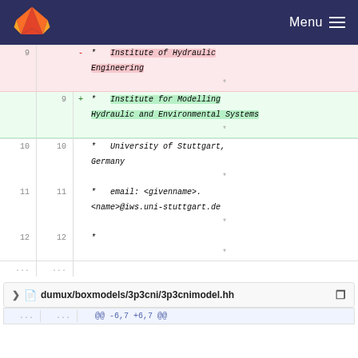GitLab Menu
| old | new | sign | code |
| --- | --- | --- | --- |
| 9 |  | - | *   Institute of Hydraulic Engineering |
|  |  |  | * |
|  | 9 | + | *   Institute for Modelling Hydraulic and Environmental Systems |
|  |  |  | * |
| 10 | 10 |  | *   University of Stuttgart, Germany |
|  |  |  | * |
| 11 | 11 |  | *   email: <givenname>.<name>@iws.uni-stuttgart.de |
|  |  |  | * |
| 12 | 12 |  | * |
|  |  |  | * |
| ... | ... |  |  |
dumux/boxmodels/3p3cni/3p3cnimodel.hh
| old | new | code |
| --- | --- | --- |
| ... | ... | @@ -6,7 +6,7 @@ |